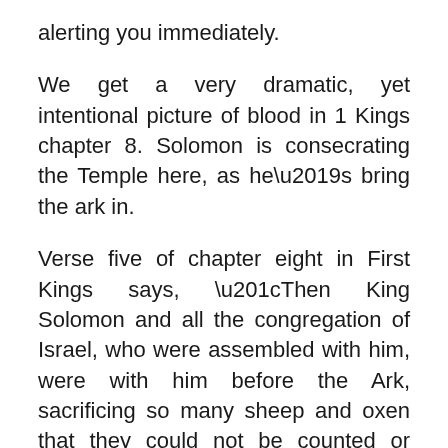alerting you immediately.
We get a very dramatic, yet intentional picture of blood in 1 Kings chapter 8. Solomon is consecrating the Temple here, as he’s bring the ark in.
Verse five of chapter eight in First Kings says, “Then King Solomon and all the congregation of Israel, who were assembled with him, were with him before the Ark, sacrificing so many sheep and oxen that they could not be counted or numbered.”
“So many that they could not be counted or